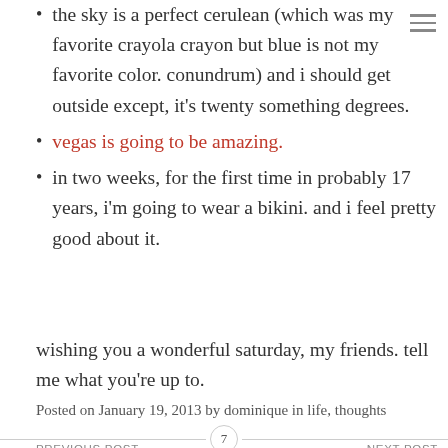the sky is a perfect cerulean (which was my favorite crayola crayon but blue is not my favorite color. conundrum) and i should get outside except, it's twenty something degrees.
vegas is going to be amazing.
in two weeks, for the first time in probably 17 years, i'm going to wear a bikini. and i feel pretty good about it.
wishing you a wonderful saturday, my friends. tell me what you're up to.
Posted on January 19, 2013 by dominique in life, thoughts
7
PREVIOUS POST   NEXT POST